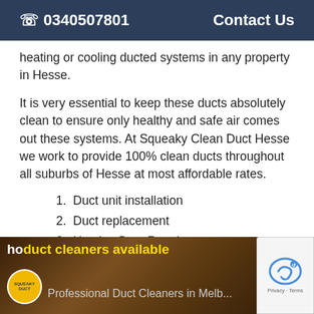☎ 0340507801    Contact Us
heating or cooling ducted systems in any property in Hesse.
It is very essential to keep these ducts absolutely clean to ensure only healthy and safe air comes out these systems. At Squeaky Clean Duct Hesse we work to provide 100% clean ducts throughout all suburbs of Hesse at most affordable rates.
1. Duct unit installation
2. Duct replacement
3. Heating Duct Repairs
4. Ducted heating and cooling maintenance.
[Figure (screenshot): Video thumbnail showing duct cleaning with text 'ho duct cleaners available' and 'Professional Duct Cleaners in Melb...' with Squeaky Clean Duct logo and reCAPTCHA badge]